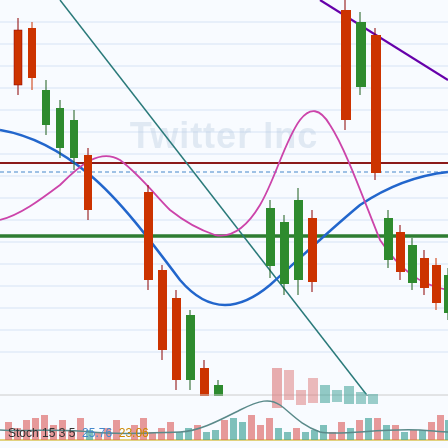[Figure (continuous-plot): Twitter Inc. candlestick stock chart with multiple overlaid technical indicators: blue moving average curve, pink/magenta moving average curve, dark purple diagonal line, dark teal diagonal line, horizontal green support/resistance line, horizontal dark red/maroon line, horizontal blue dotted line. Candlesticks are red/green. Bottom panel shows Stochastic oscillator bars (pink and teal) with a gray oscillator line. Watermark reads 'Twitter Inc' in the background.]
Stoch 15 3 5  25.76  23.06